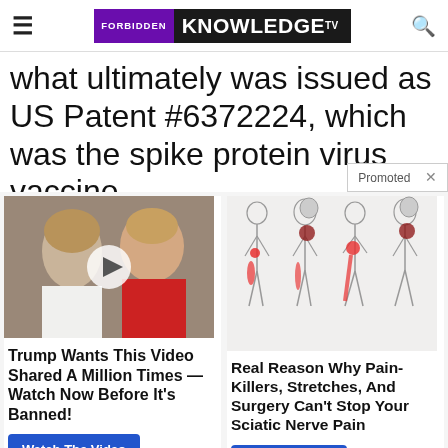FORBIDDEN KNOWLEDGE TV
what ultimately was issued as US Patent #6372224, which was the spike protein virus vaccine for th...
[Figure (photo): Advertisement photo showing two people (appears to be Melania and Donald Trump) with a video play button overlay]
[Figure (illustration): Medical illustration showing four human body silhouettes with red highlighted areas indicating sciatic nerve pain locations]
Trump Wants This Video Shared A Million Times — Watch Now Before It's Banned!
Real Reason Why Pain-Killers, Stretches, And Surgery Can't Stop Your Sciatic Nerve Pain
Watch The Video
Find Out More
Promoted